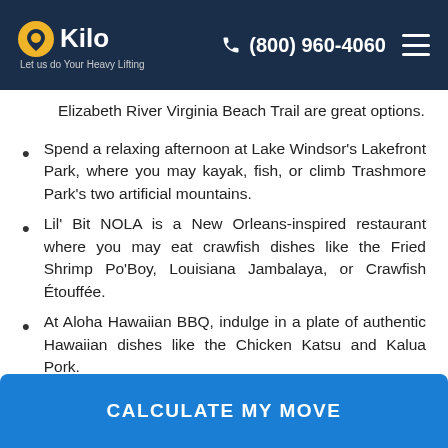Kilo — Let us do Your Heavy Lifting | (800) 960-4060
Elizabeth River Virginia Beach Trail are great options.
Spend a relaxing afternoon at Lake Windsor's Lakefront Park, where you may kayak, fish, or climb Trashmore Park's two artificial mountains.
Lil' Bit NOLA is a New Orleans-inspired restaurant where you may eat crawfish dishes like the Fried Shrimp Po'Boy, Louisiana Jambalaya, or Crawfish Étouffée.
At Aloha Hawaiian BBQ, indulge in a plate of authentic Hawaiian dishes like the Chicken Katsu and Kalua Pork.
CALCULATE MY MOVE